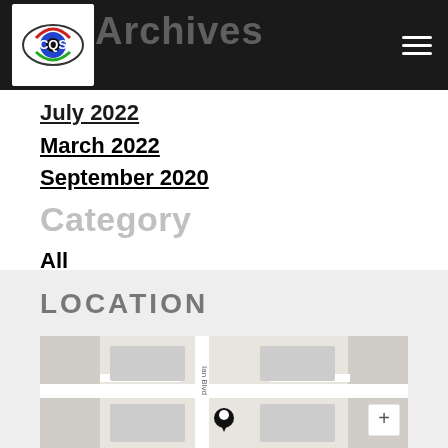Archives
[Figure (logo): CQS logo with stylized eye graphic in red, green, blue colors]
July 2022
March 2022
September 2020
Category
All
Sourcing & Procurement
Supplier Performance
RSS Feed
LOCATION
[Figure (map): Street map showing location with a pin marker, street named Ian Blvd visible, zoom controls on right side]